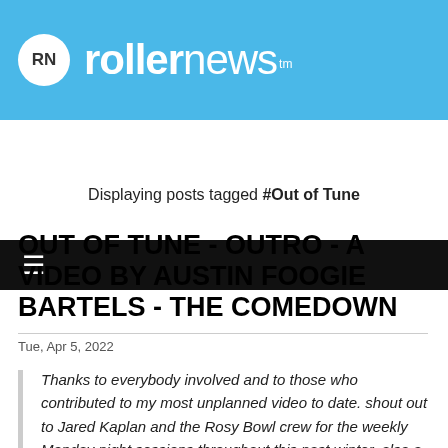rollernews tm
Displaying posts tagged #Out of Tune
OUT OF TUNE - OUTRO - A VIDEO BY AUSTIN FOOGIE BARTELS - THE COMEDOWN
Tue, Apr 5, 2022
Thanks to everybody involved and to those who contributed to my most unplanned video to date. shout out to Jared Kaplan and the Rosy Bowl crew for the weekly Monday night sessions throughout this past winter. also a huge thanks to Mick Casals